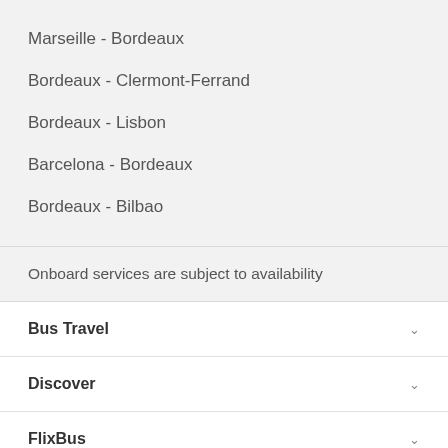Marseille - Bordeaux
Bordeaux - Clermont-Ferrand
Bordeaux - Lisbon
Barcelona - Bordeaux
Bordeaux - Bilbao
Onboard services are subject to availability
Bus Travel
Discover
FlixBus
Customer Service